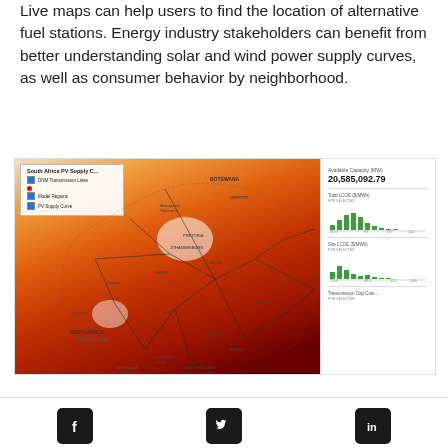Live maps can help users to find the location of alternative fuel stations. Energy industry stakeholders can benefit from better understanding solar and wind power supply curves, as well as consumer behavior by neighborhood.
[Figure (map): South Africa PV Supply Curve interactive map showing solar irradiance heatmap overlaid on a map of South Africa, with legend showing DNM Transmission Lines, Model Regions, PV Supply Curve layers. Right panel shows Available Capacity (MW): 20,585,092.79, Total LCOE ($/MWh) histogram, Site LCOE ($/MWh) histogram, and Transmission Cap Cost panel.]
[Figure (infographic): Social media icons: Facebook (f), Twitter (bird), LinkedIn (in)]